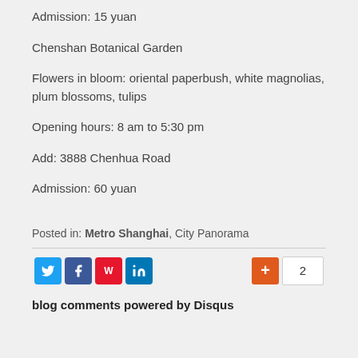Admission: 15 yuan
Chenshan Botanical Garden
Flowers in bloom: oriental paperbush, white magnolias, plum blossoms, tulips
Opening hours: 8 am to 5:30 pm
Add: 3888 Chenhua Road
Admission: 60 yuan
Posted in: Metro Shanghai, City Panorama
[Figure (infographic): Social sharing buttons: Twitter, Facebook, Weibo, LinkedIn, and a +1 / count button showing 2]
blog comments powered by Disqus